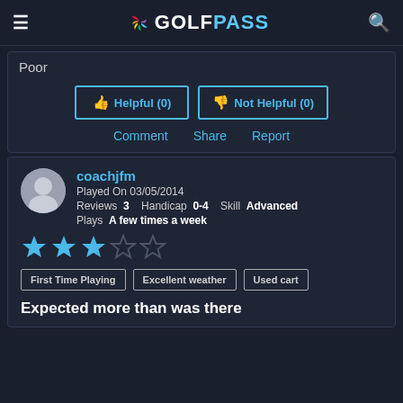GOLFPASS
Poor
Helpful (0)
Not Helpful (0)
Comment  Share  Report
coachjfm
Played On 03/05/2014
Reviews 3  Handicap 0-4  Skill Advanced
Plays A few times a week
[Figure (other): 3 out of 5 star rating shown as filled and empty star icons]
First Time Playing  Excellent weather  Used cart
Expected more than was there